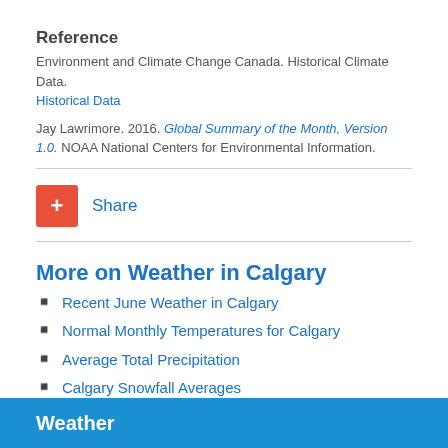Reference
Environment and Climate Change Canada. Historical Climate Data. Historical Data
Jay Lawrimore. 2016. Global Summary of the Month, Version 1.0. NOAA National Centers for Environmental Information.
[Figure (other): Red plus/share button with Share link]
More on Weather in Calgary
Recent June Weather in Calgary
Normal Monthly Temperatures for Calgary
Average Total Precipitation
Calgary Snowfall Averages
Recent April Weather in Calgary
Weather